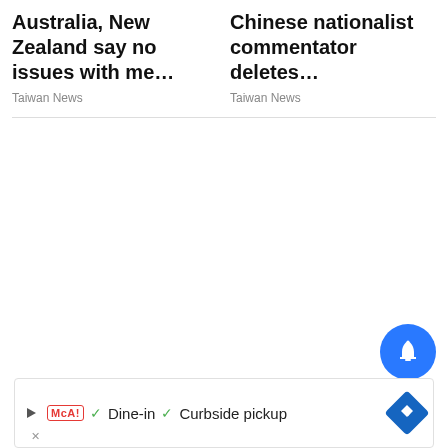Australia, New Zealand say no issues with me…
Taiwan News
Chinese nationalist commentator deletes…
Taiwan News
[Figure (other): Blue circular notification bell button]
[Figure (other): Advertisement banner with McAlister's Deli logo, checkmarks for Dine-in and Curbside pickup, and a blue diamond navigation icon]